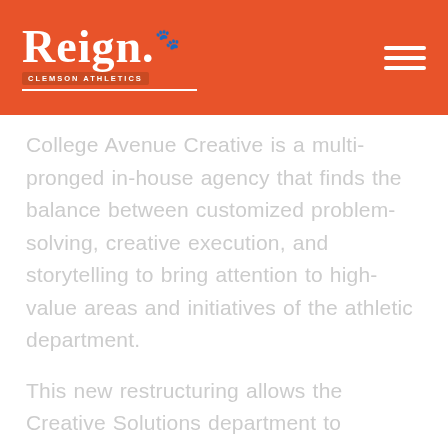Reign. Clemson Athletics
College Avenue Creative is a multi-pronged in-house agency that finds the balance between customized problem-solving, creative execution, and storytelling to bring attention to high-value areas and initiatives of the athletic department.
This new restructuring allows the Creative Solutions department to increase efficiency and develop depth in working alongside student-athletes and coaches while we best tell the Clemson story. Clemson Athletics has been a leader in the digital and social media